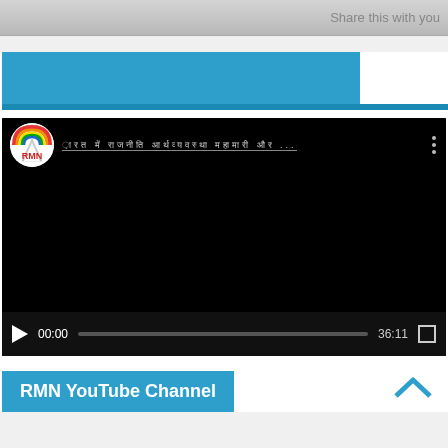Share this with you
[Figure (screenshot): Blue banner/header section]
[Figure (screenshot): Embedded YouTube video player showing RMN channel video with Hindi text title, black video area, play button, 00:00 current time, progress bar, 36:11 total time, and fullscreen button]
RMN YouTube Channel